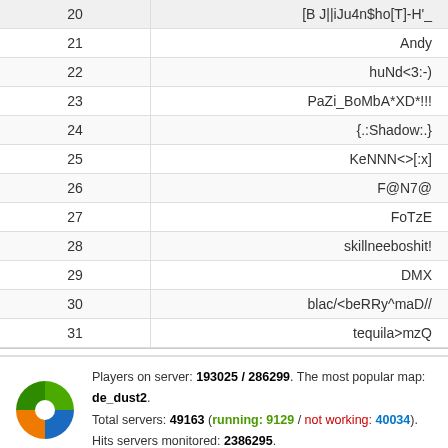| # | Name |
| --- | --- |
| 20 | [B J||iJu4n$ho[T]-H'_S... |
| 21 | Andy |
| 22 | huNd<3:-) |
| 23 | PaZi_BoMbA*XD*!!! |
| 24 | {.:Shadow:.} |
| 25 | KeNNN<>[:x] |
| 26 | F@N7@ |
| 27 | FoTzE |
| 28 | skillneeboshit! |
| 29 | DMX |
| 30 | blac/<beRRy^maD// |
| 31 | tequila>mzQ |
Players on server: 193025 / 286299. The most popular map: de_dust2. Total servers: 49163 (running: 9129 / not working: 40034). Hits servers monitored: 2386295.
COUNTER-STRIKE 1.6   COUNTER-STRIKE: SOURCE   C
[Figure (illustration): Flag icons: Russia, Ukraine, USA, Italy]
Load time: 0.54 seconds - 19 Queries
32,486,209 unique visits